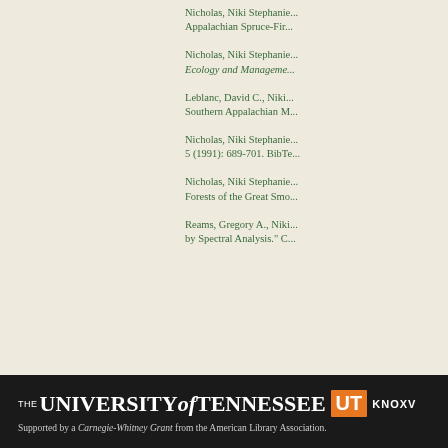Nicholas, Niki Stephanie... Appalachian Spruce-Fir...
Nicholas, Niki Stephanie... Ecology and Management...
Leblanc, David C., Niki... Southern Appalachian M...
Nicholas, Niki Stephanie... 5 (1991): 689-701. BibTe...
Nicholas, Niki Stephanie... Forests of the Great Smo...
Reams, Gregory A., Niki... by Spectral Analysis." C...
THE UNIVERSITY of TENNESSEE UT KNOXV... Supported by a Carnegie-Whitney Grant from the American Library Association.